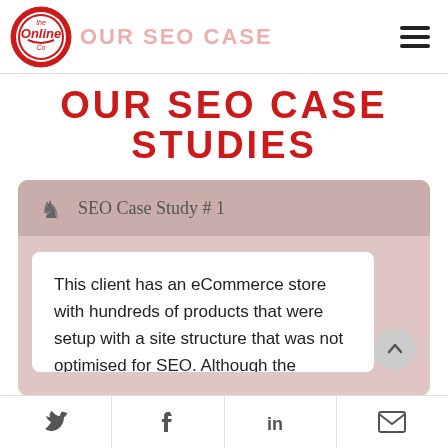OUR SEO CASE STUDIES
OUR SEO CASE STUDIES
SEO Case Study # 1
This client has an eCommerce store with hundreds of products that were setup with a site structure that was not optimised for SEO. Although the products had been
Twitter | Facebook | LinkedIn | Email